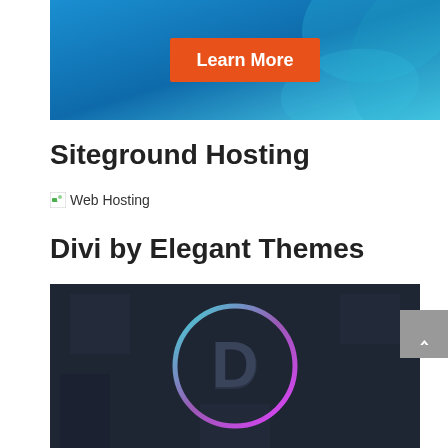[Figure (screenshot): Blue gradient banner with orange 'Learn More' button]
Siteground Hosting
[Figure (illustration): Broken image placeholder with 'Web Hosting' alt text]
Divi by Elegant Themes
[Figure (screenshot): Divi by Elegant Themes logo — dark background with a colorful gradient circle around the letter D]
[Figure (other): Grey scroll-to-top button with upward arrow]